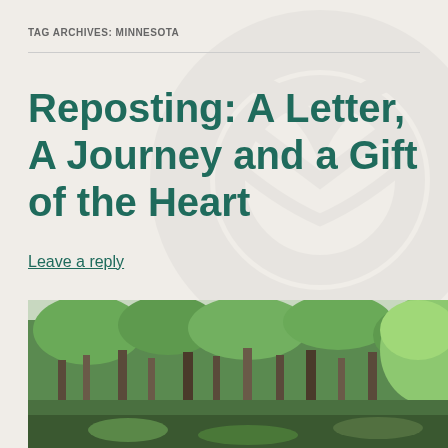TAG ARCHIVES: MINNESOTA
Reposting: A Letter, A Journey and a Gift of the Heart
Leave a reply
[Figure (photo): Forest scene with tall trees and green foliage, natural woodland setting]